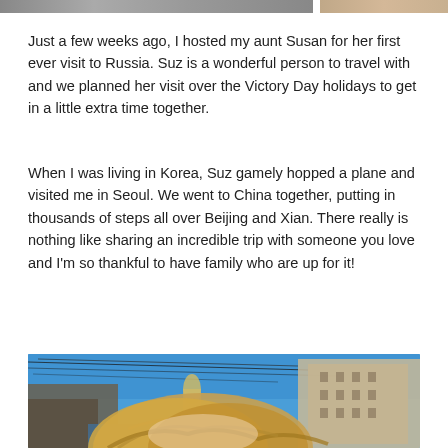[Figure (photo): Partial top strip showing cropped photos from a previous section of the blog post]
Just a few weeks ago, I hosted my aunt Susan for her first ever visit to Russia. Suz is a wonderful person to travel with and we planned her visit over the Victory Day holidays to get in a little extra time together.
When I was living in Korea, Suz gamely hopped a plane and visited me in Seoul. We went to China together, putting in thousands of steps all over Beijing and Xian. There really is nothing like sharing an incredible trip with someone you love and I'm so thankful to have family who are up for it!
[Figure (photo): Selfie photo of a woman with long blonde hair in front of a Russian city street scene with blue sky, overhead wires, classical buildings, and a canal or waterway in background]